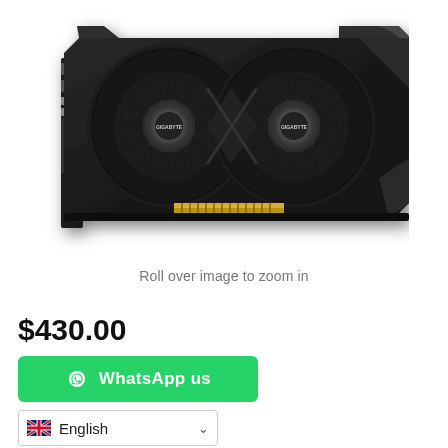[Figure (photo): GIGABYTE graphics card (GPU) with dual fans, black design, shown from top angle on white background]
Roll over image to zoom in
$430.00
WhatsApp us
English